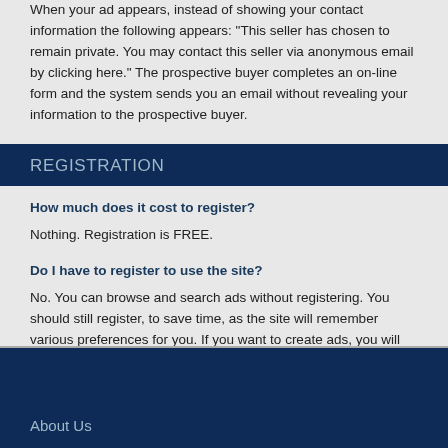When your ad appears, instead of showing your contact information the following appears: 'This seller has chosen to remain private. You may contact this seller via anonymous email by clicking here.' The prospective buyer completes an on-line form and the system sends you an email without revealing your information to the prospective buyer.
REGISTRATION
How much does it cost to register?
Nothing. Registration is FREE.
Do I have to register to use the site?
No. You can browse and search ads without registering. You should still register, to save time, as the site will remember various preferences for you. If you want to create ads, you will need to register. Registration is FREE.
About Us